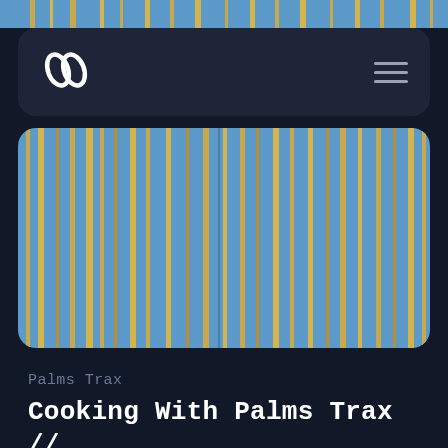[Figure (screenshot): Partial view of vertical striped image (blue and gold/yellow vertical lines) at top of page]
[Figure (logo): Squarespace logo (two overlapping chain-link S shapes in white) inside dark rounded navigation bar with hamburger menu icon on right]
[Figure (photo): Photo of blue and gold/yellow vertical stripes, resembling palm fronds or fabric, contained in a rounded rectangle]
Palms Trax
Cooking With Palms Trax // NTS 07